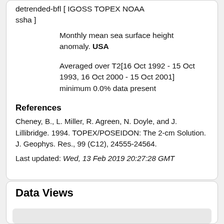detrended-bfl [ IGOSS TOPEX NOAA ssha ]
Monthly mean sea surface height anomaly. USA
Averaged over T2[16 Oct 1992 - 15 Oct 1993, 16 Oct 2000 - 15 Oct 2001] minimum 0.0% data present
References
Cheney, B., L. Miller, R. Agreen, N. Doyle, and J. Lillibridge. 1994. TOPEX/POSEIDON: The 2-cm Solution. J. Geophys. Res., 99 (C12), 24555-24564.
Last updated: Wed, 13 Feb 2019 20:27:28 GMT
Data Views